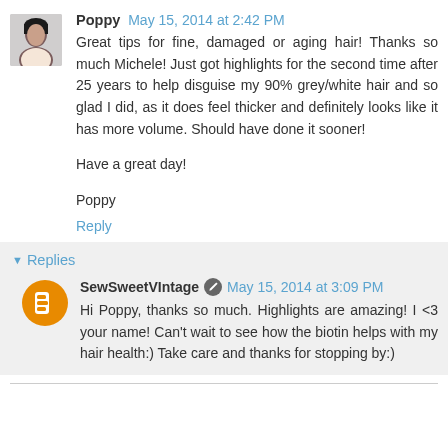Poppy May 15, 2014 at 2:42 PM
Great tips for fine, damaged or aging hair! Thanks so much Michele! Just got highlights for the second time after 25 years to help disguise my 90% grey/white hair and so glad I did, as it does feel thicker and definitely looks like it has more volume. Should have done it sooner!

Have a great day!

Poppy
Reply
Replies
SewSweetVIntage May 15, 2014 at 3:09 PM
Hi Poppy, thanks so much. Highlights are amazing! I <3 your name! Can't wait to see how the biotin helps with my hair health:) Take care and thanks for stopping by:)